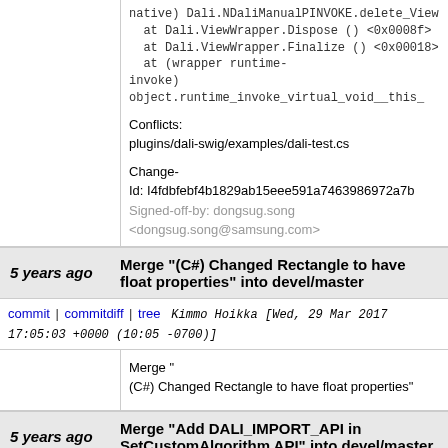native) Dali.NDaliManualPINVOKE.delete_View...
  at Dali.ViewWrapper.Dispose () <0x0008f>
  at Dali.ViewWrapper.Finalize () <0x00018>
  at (wrapper runtime-invoke) object.runtime_invoke_virtual_void__this_
Conflicts:
plugins/dali-swig/examples/dali-test.cs
Change-Id: I4fdbfebf4b1829ab15eee591a7463986972a7b
Signed-off-by: dongsug.song <dongsug.song@samsung.com>
5 years ago   Merge "(C#) Changed Rectangle to have float properties" into devel/master
commit | commitdiff | tree   Kimmo Hoikka [Wed, 29 Mar 2017 17:05:03 +0000 (10:05 -0700)]
Merge "
(C#) Changed Rectangle to have float properties"
5 years ago   Merge "Add DALI_IMPORT_API in SetCustomAlgorithm API" into devel/master
commit | commitdiff | tree   Adeel Kazmi [Wed, 29 Mar 2017 15:47:41 +0000 (08:47 -0700)]
Merge "Add DALI_IMPORT_API in SetCustomAlg